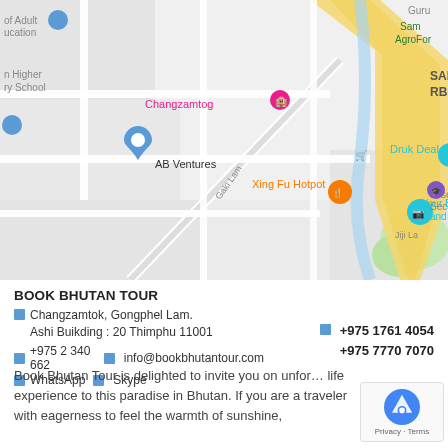[Figure (map): Google Maps screenshot showing area around Changzamtok, Thimphu, Bhutan. Labels visible: SAMARZINGKHA RBP COLONY, Changzamtog, AB Ventures, Xing Fu Hotpot, Druk Deal, Your Bhutan Guide and Trekking, Gaki Lam road, Jiji La. Map shows road network with yellow highways and grey streets.]
BOOK BHUTAN TOUR
Changzamtok, Gongphel Lam.
Ashi Buikding : 20 Thimphu 11001
+975 2 340 662   info@bookbhutantour.com
WhatsApp   Skype
+975 1761 4054
+975 7770 7070
Book Bhutan Tour is delighted to invite you on unfor... life experience to this paradise in Bhutan. If you are a traveler with eagerness to feel the warmth of sunshine,